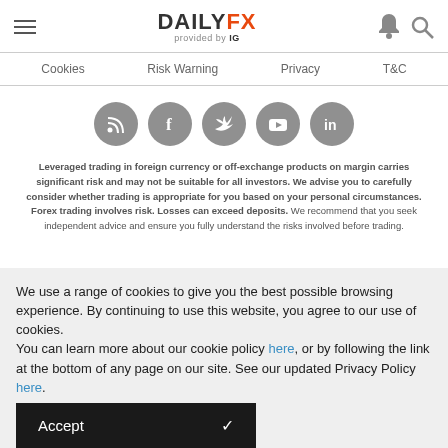DAILYFX provided by IG
Cookies | Risk Warning | Privacy | T&C
[Figure (illustration): Row of five social media icon circles: RSS feed, Facebook, Twitter, YouTube, LinkedIn]
Leveraged trading in foreign currency or off-exchange products on margin carries significant risk and may not be suitable for all investors. We advise you to carefully consider whether trading is appropriate for you based on your personal circumstances. Forex trading involves risk. Losses can exceed deposits. We recommend that you seek independent advice and ensure you fully understand the risks involved before trading.
We use a range of cookies to give you the best possible browsing experience. By continuing to use this website, you agree to our use of cookies.
You can learn more about our cookie policy here, or by following the link at the bottom of any page on our site. See our updated Privacy Policy here.
Accept